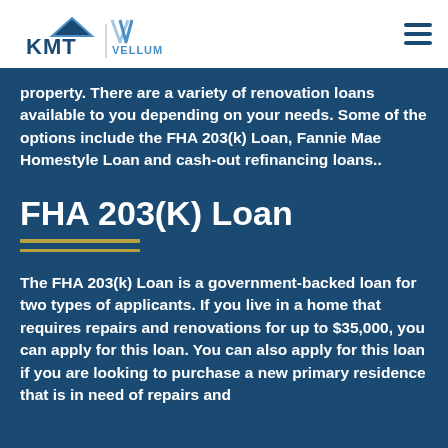KMT Kingsbury Mortgage Team | Vellum Mortgage
property. There are a variety of renovation loans available to you depending on your needs. Some of the options include the FHA 203(k) Loan, Fannie Mae Homestyle Loan and cash-out refinancing loans..
FHA 203(K) Loan
The FHA 203(k) Loan is a government-backed loan for two types of applicants. If you live in a home that requires repairs and renovations for up to $35,000, you can apply for this loan. You can also apply for this loan if you are looking to purchase a new primary residence that is in need of repairs and